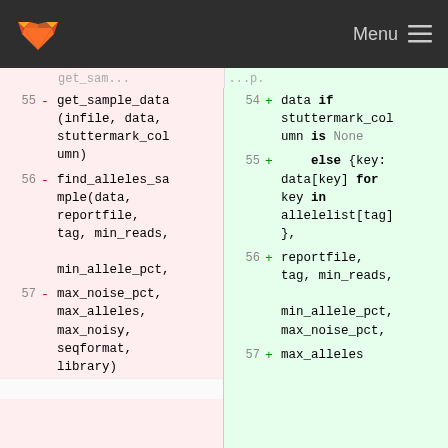GitLab navigation bar with logo and Menu
[Figure (screenshot): Code diff view showing two panels: left (removed lines, pink background) with line numbers 55, 56, 57 and minus signs; right (added lines, green background) with line numbers 54, 55, 56, 57 and plus signs. Left panel shows get_sample_data(infile, data, stuttermark_column), find_alleles_sample(data, reportfile, tag, min_reads, min_allele_pct,, max_noise_pct, max_alleles, max_noisy, seqformat, library). Right panel shows data if stuttermark_column is None, else {key: data[key] for key in allelelist[tag]}, reportfile, tag, min_reads, min_allele_pct, max_noise_pct, max_alleles.]